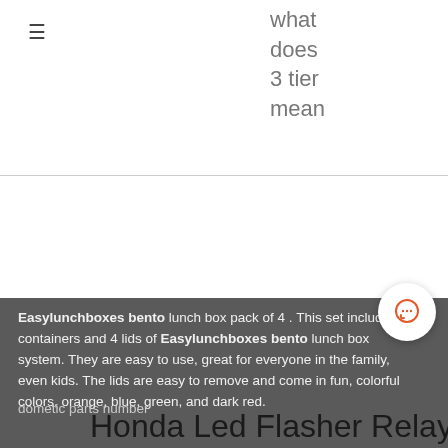≡    what does 3 tier mean
Easylunchboxes bento lunch box pack of 4 . This set includes 4 containers and 4 lids of Easylunchboxes bento lunch box system. They are easy to use, great for everyone in the family, even kids. The lids are easy to remove and come in fun, colorful colors, orange, blue, green, and dark red.
dometic parts number
Honda Led Flasher Relay